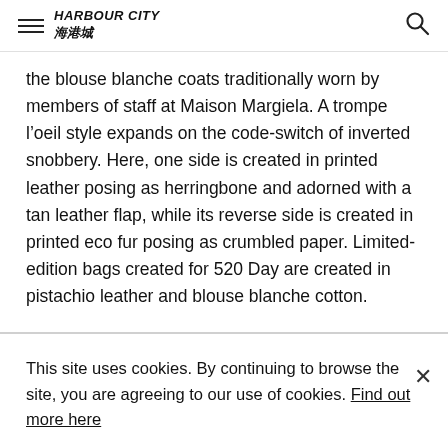HARBOUR CITY 海港城
the blouse blanche coats traditionally worn by members of staff at Maison Margiela. A trompe l’oeil style expands on the code-switch of inverted snobbery. Here, one side is created in printed leather posing as herringbone and adorned with a tan leather flap, while its reverse side is created in printed eco fur posing as crumbled paper. Limited-edition bags created for 520 Day are created in pistachio leather and blouse blanche cotton.
This site uses cookies. By continuing to browse the site, you are agreeing to our use of cookies. Find out more here